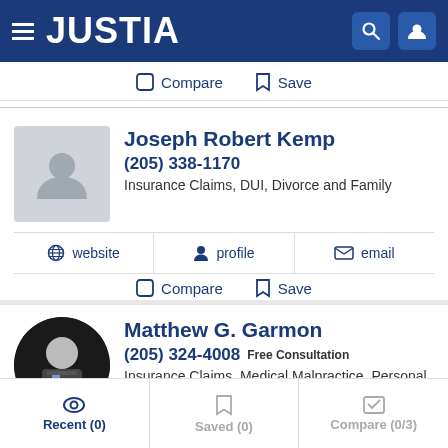JUSTIA
Compare  Save
Joseph Robert Kemp
(205) 338-1170
Insurance Claims, DUI, Divorce and Family
website  profile  email
Compare  Save
Matthew G. Garmon
(205) 324-4008 Free Consultation
Insurance Claims, Medical Malpractice, Personal Injury and...
Recent (0)  Saved (0)  Compare (0/3)